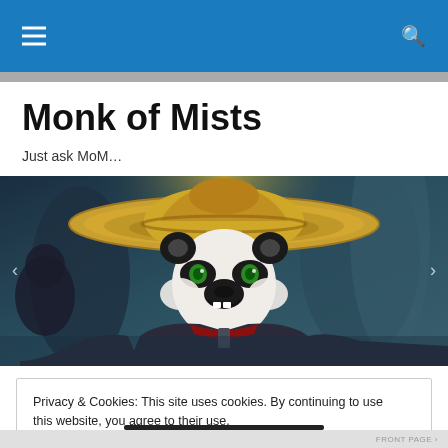Navigation bar with hamburger menu and search icon
Monk of Mists
Just ask MoM…
[Figure (illustration): A World of Warcraft Pandaren monk character wearing a large straw hat, set against a misty blue-green background. The panda warrior has an intense expression and is shown from the waist up.]
Privacy & Cookies: This site uses cookies. By continuing to use this website, you agree to their use.
To find out more, including how to control cookies, see here: Cookie Policy
Close and accept